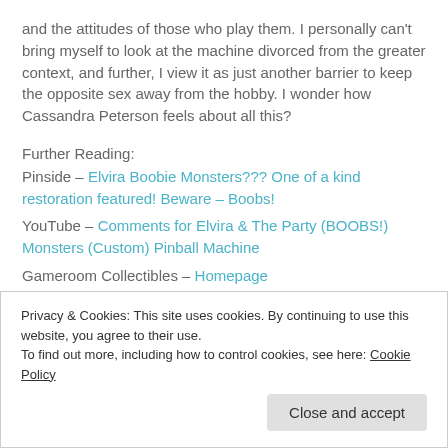and the attitudes of those who play them. I personally can't bring myself to look at the machine divorced from the greater context, and further, I view it as just another barrier to keep the opposite sex away from the hobby. I wonder how Cassandra Peterson feels about all this?
Further Reading:
Pinside – Elvira Boobie Monsters??? One of a kind restoration featured! Beware – Boobs!
YouTube – Comments for Elvira & The Party (BOOBS!) Monsters (Custom) Pinball Machine
Gameroom Collectibles – Homepage
Privacy & Cookies: This site uses cookies. By continuing to use this website, you agree to their use. To find out more, including how to control cookies, see here: Cookie Policy
Close and accept